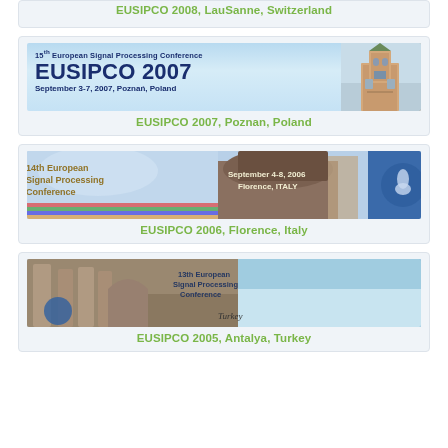[Figure (photo): Partial banner for EUSIPCO 2008, Lausanne, Switzerland (top of page, mostly cut off)]
EUSIPCO 2007, Poznan, Poland
[Figure (photo): Banner for 15th European Signal Processing Conference EUSIPCO 2007, September 3-7, 2007, Poznan, Poland, with image of church tower]
EUSIPCO 2007, Poznan, Poland
[Figure (photo): Banner for 14th European Signal Processing Conference EUSIPCO 2006, September 4-8, 2006, Florence, Italy, with Renaissance artwork and cathedral]
EUSIPCO 2006, Florence, Italy
[Figure (photo): Banner for 13th European Signal Processing Conference EUSIPCO 2005, Antalya, Turkey, with ruins and landscape]
EUSIPCO 2005, Antalya, Turkey